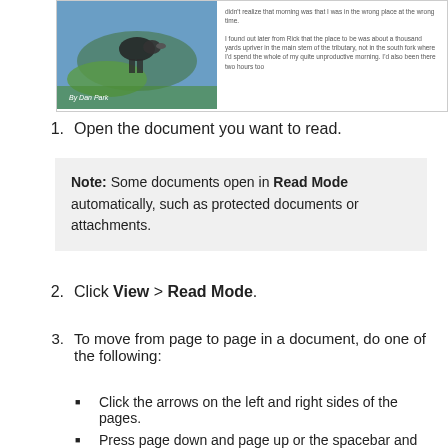[Figure (illustration): A document preview box showing a photo of a bird (appears to be a duck or heron) in blue and green outdoor setting, with small text content on the right side of the box. The photo has a 'By Dan Pak' credit.]
1. Open the document you want to read.
Note: Some documents open in Read Mode automatically, such as protected documents or attachments.
2. Click View > Read Mode.
3. To move from page to page in a document, do one of the following:
Click the arrows on the left and right sides of the pages.
Press page down and page up or the spacebar and